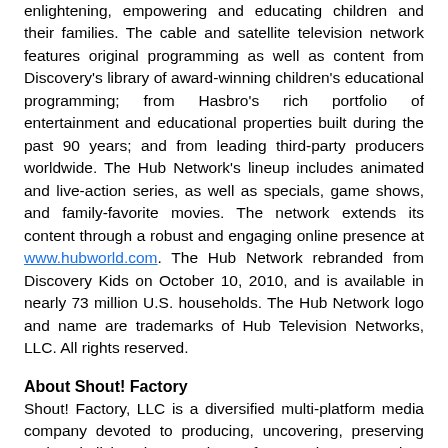enlightening, empowering and educating children and their families. The cable and satellite television network features original programming as well as content from Discovery's library of award-winning children's educational programming; from Hasbro's rich portfolio of entertainment and educational properties built during the past 90 years; and from leading third-party producers worldwide. The Hub Network's lineup includes animated and live-action series, as well as specials, game shows, and family-favorite movies. The network extends its content through a robust and engaging online presence at www.hubworld.com. The Hub Network rebranded from Discovery Kids on October 10, 2010, and is available in nearly 73 million U.S. households. The Hub Network logo and name are trademarks of Hub Television Networks, LLC. All rights reserved.
About Shout! Factory
Shout! Factory, LLC is a diversified multi-platform media company devoted to producing, uncovering, preserving and revitalizing the very best of pop culture. Founders Richard Foos, Bob Emmer and Garson Foos have spent their entire careers sharing their music, television and film favorites with discerning consumers the world over. Shout! Factory's DVD and Blu-Ray™ offerings serve up